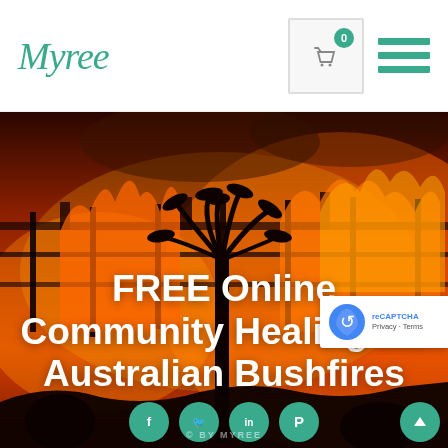Myree
[Figure (photo): Bushfire scene with silhouetted palm trees against intense orange and red flames and smoke, hero banner image]
FREE Online Community Healing for Australian Bushfires